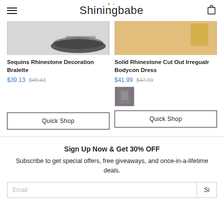Shiningbabe
[Figure (photo): Partial product image of Sequins Rhinestone Decoration Bralette]
Sequins Rhinestone Decoration Bralette
$39.13  $49.43
Quick Shop
[Figure (photo): Partial product image of Solid Rhinestone Cut Out Irregualr Bodycon Dress]
Solid Rhinestone Cut Out Irregualr Bodycon Dress
$41.99  $47.99
[Figure (photo): Small swatch/thumbnail image of Solid Rhinestone Bodycon Dress]
Quick Shop
Sign Up Now & Get 30% OFF
Subscribe to get special offers, free giveaways, and once-in-a-lifetime deals.
Email  Si